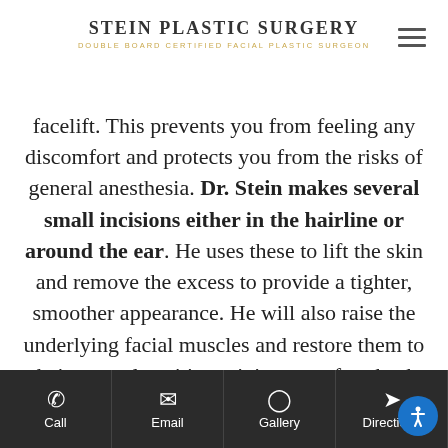Stein Plastic Surgery — Double Board Certified Facial Plastic Surgeon
facelift. This prevents you from feeling any discomfort and protects you from the risks of general anesthesia. Dr. Stein makes several small incisions either in the hairline or around the ear. He uses these to lift the skin and remove the excess to provide a tighter, smoother appearance. He will also raise the underlying facial muscles and restore them to their normal position, giving your face back its youthful structure
Call | Email | Gallery | Directions